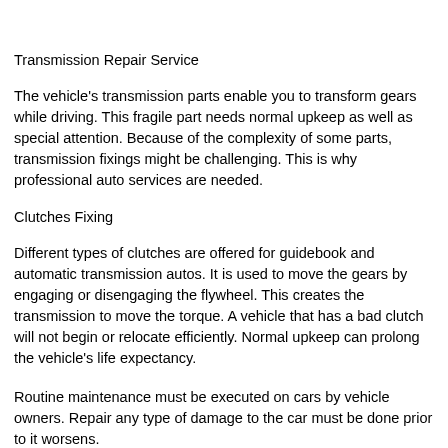Transmission Repair Service
The vehicle's transmission parts enable you to transform gears while driving. This fragile part needs normal upkeep as well as special attention. Because of the complexity of some parts, transmission fixings might be challenging. This is why professional auto services are needed.
Clutches Fixing
Different types of clutches are offered for guidebook and automatic transmission autos. It is used to move the gears by engaging or disengaging the flywheel. This creates the transmission to move the torque. A vehicle that has a bad clutch will not begin or relocate efficiently. Normal upkeep can prolong the vehicle's life expectancy.
Routine maintenance must be executed on cars by vehicle owners. Repair any type of damage to the car must be done prior to it worsens.